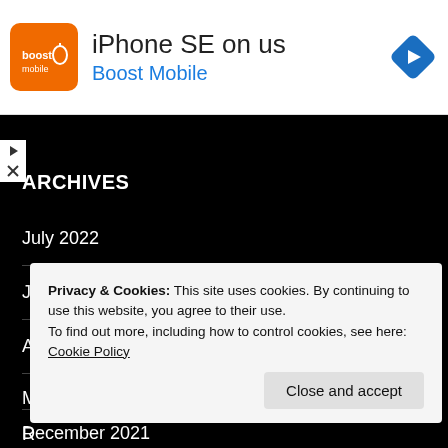[Figure (screenshot): Advertisement banner for Boost Mobile: orange logo on left, text 'iPhone SE on us' and 'Boost Mobile' in center, blue diamond navigation arrow icon on right]
10 Years too late – Pentax MZ-60 (ZX-60) Review
ARCHIVES
July 2022
June 2022
April 2022
Privacy & Cookies: This site uses cookies. By continuing to use this website, you agree to their use.
To find out more, including how to control cookies, see here: Cookie Policy
Close and accept
December 2021